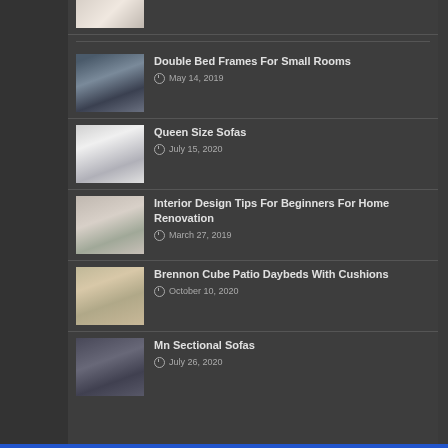[Figure (photo): Partial thumbnail of a room/furniture item at top]
Double Bed Frames For Small Rooms
May 14, 2019
Queen Size Sofas
July 15, 2020
Interior Design Tips For Beginners For Home Renovation
March 27, 2019
Brennon Cube Patio Daybeds With Cushions
October 10, 2020
Mn Sectional Sofas
July 26, 2020